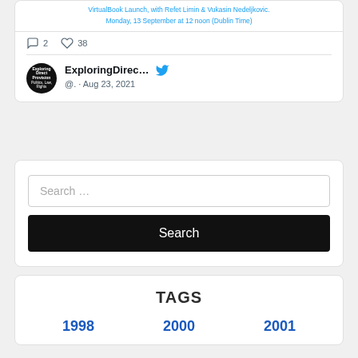VirtualBook Launch, with Refet Limin & Vukasin Nedeljkovic. Monday, 13 September at 12 noon (Dublin Time)
2  38
[Figure (screenshot): Twitter/social media post from ExploringDirec... @. · Aug 23, 2021 with profile avatar showing Exploring Direct Provision logo]
[Figure (screenshot): Search box with placeholder text 'Search ...' and a black Search button below]
TAGS
1998   2000   2001